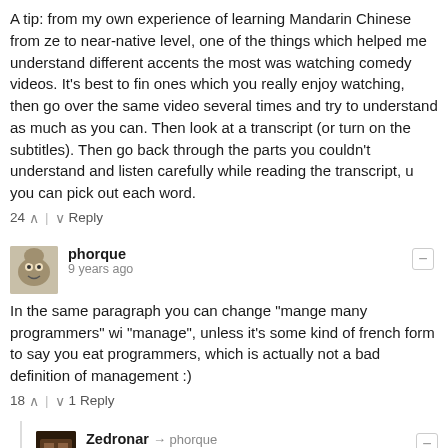A tip: from my own experience of learning Mandarin Chinese from zero to near-native level, one of the things which helped me understand different accents the most was watching comedy videos. It's best to find ones which you really enjoy watching, then go over the same video several times and try to understand as much as you can. Then look at a transcript (or turn on the subtitles). Then go back through the parts you couldn't understand and listen carefully while reading the transcript, until you can pick out each word.
24 ∧ | ∨ Reply
phorque
9 years ago
In the same paragraph you can change "mange many programmers" with "manage", unless it's some kind of french form to say you eat programmers, which is actually not a bad definition of management :)
18 ∧ | ∨ 1 Reply
Zedronar → phorque
9 years ago
I laughed way too hard at this.
4 ∧ | ∨ Reply